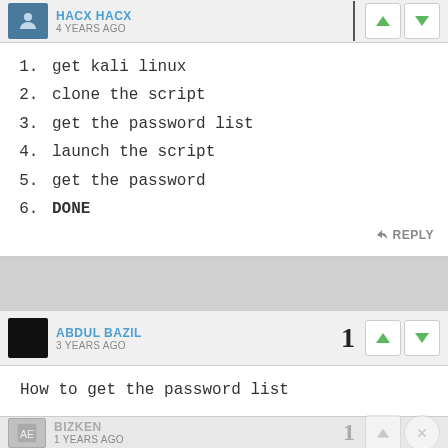1. get kali linux
2. clone the script
3. get the password list
4. launch the script
5. get the password
6. DONE
ABDUL BAZIL · 3 YEARS AGO
How to get the password list
BIZKEN · 1 YEARS AGO